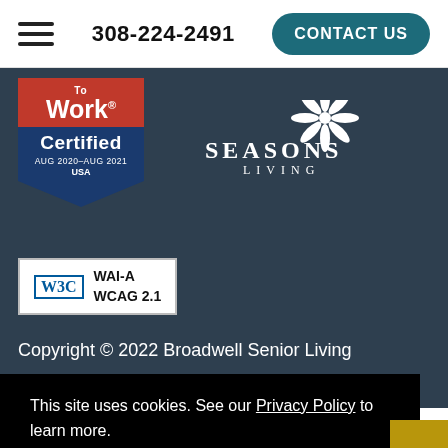308-224-2491  CONTACT US
[Figure (logo): Great Place to Work Certified badge, AUG 2020–AUG 2021, USA]
[Figure (logo): Seasons Living logo with white snowflake/flower icon]
[Figure (logo): W3C WAI-A WCAG 2.1 accessibility badge]
Copyright © 2022 Broadwell Senior Living
This site uses cookies. See our Privacy Policy to learn more.
Okay, Got it